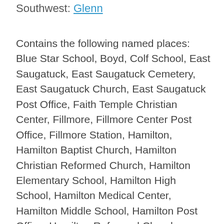Southwest: Glenn
Contains the following named places: Blue Star School, Boyd, Colf School, East Saugatuck, East Saugatuck Cemetery, East Saugatuck Church, East Saugatuck Post Office, Faith Temple Christian Center, Fillmore, Fillmore Center Post Office, Fillmore Station, Hamilton, Hamilton Baptist Church, Hamilton Christian Reformed Church, Hamilton Elementary School, Hamilton High School, Hamilton Medical Center, Hamilton Middle School, Hamilton Post Office, Hamilton Reformed Church, Hamilton Station, Harvest Christian Fellowship, Haven Reformed Church, Jaarda Drain, Junction Cemetery, Kleinheksel Drain, Little Dailey Bayou, Lohman School, Lugten Gully, Manlius Cemetery, Mann Creek, New Overisel Cemetery, New Richmond, New Richmond Baptist Church, New Richmond Post Office